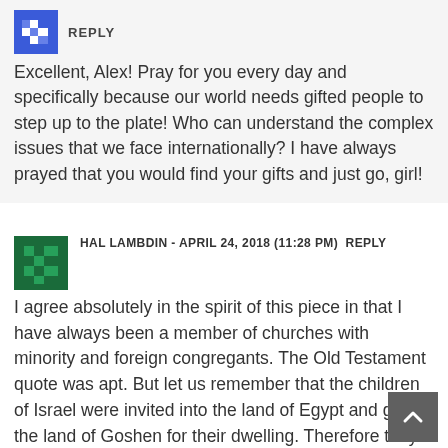[Figure (illustration): Blue pixel-art avatar icon]
REPLY
Excellent, Alex! Pray for you every day and specifically because our world needs gifted people to step up to the plate! Who can understand the complex issues that we face internationally? I have always prayed that you would find your gifts and just go, girl!
[Figure (illustration): Green pixel-art avatar icon]
HAL LAMBDIN - APRIL 24, 2018 (11:28 PM) REPLY
I agree absolutely in the spirit of this piece in that I have always been a member of churches with minority and foreign congregants. The Old Testament quote was apt. But let us remember that the children of Israel were invited into the land of Egypt and given the land of Goshen for their dwelling. Therefore they were legal immigrants. I think that is sometimes lost in this particular discussion. Be that as may be, any person should be to the rights of God, so that all...